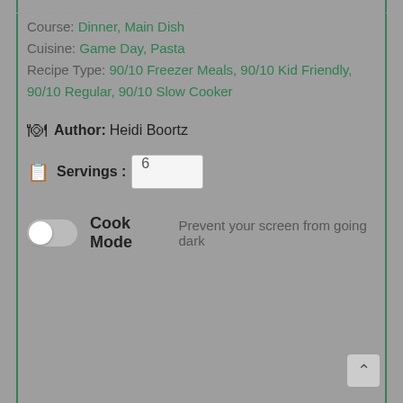Course: Dinner, Main Dish
Cuisine: Game Day, Pasta
Recipe Type: 90/10 Freezer Meals, 90/10 Kid Friendly, 90/10 Regular, 90/10 Slow Cooker
Author: Heidi Boortz
Servings: 6
Cook Mode  Prevent your screen from going dark